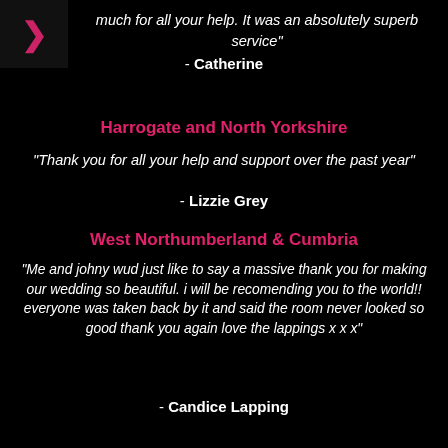much for all your help. It was an absolutely superb service"
- Catherine
Harrogate and North Yorkshire
"Thank you for all your help and support over the past year"
- Lizzie Grey
West Northumberland & Cumbria
"Me and johny wud just like to say a massive thank you for making our wedding so beautiful. i will be recomending you to the world!! everyone was taken back by it and said the room never looked so good thank you again love the lappings x x x"
- Candice Lapping
County Durham & Teesside
"Simply Bows and Chair Covers are a company that we always recommend to all our weddings that take place at Close House Hotel. Always the service is second to none, the attention to detail amazing and the new ideas that keep coming are brilliant. They